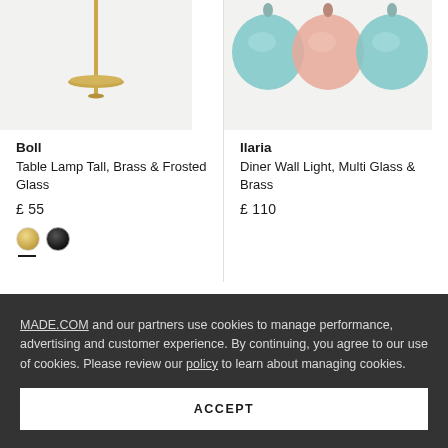[Figure (photo): Partial view of a brass table lamp with thin stem and disc base, on light grey background]
[Figure (photo): Three glass globe pendant lights in teal, pink, and teal colorways, on light grey background]
Boll
Table Lamp Tall, Brass & Frosted Glass
£ 55
[Figure (other): Two color swatches: gold/brass and black/white gradient circles with selection indicator under gold]
Ilaria
Diner Wall Light, Multi Glass & Brass
£ 110
MADE.COM and our partners use cookies to manage performance, advertising and customer experience. By continuing, you agree to our use of cookies. Please review our policy to learn about managing cookies.
ACCEPT